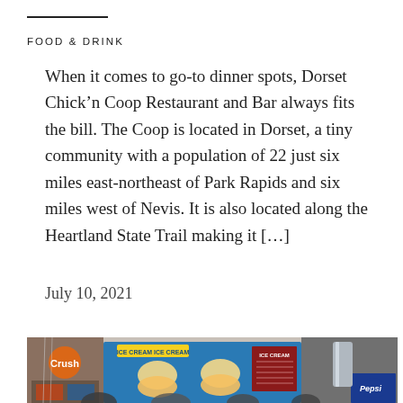FOOD & DRINK
When it comes to go-to dinner spots, Dorset Chick'n Coop Restaurant and Bar always fits the bill. The Coop is located in Dorset, a tiny community with a population of 22 just six miles east-northeast of Park Rapids and six miles west of Nevis. It is also located along the Heartland State Trail making it [...]
July 10, 2021
[Figure (photo): Interior of a food counter/restaurant area showing Crush soda machine, ice cream menu boards with butterfly/flower decorations, and Pepsi branding. People visible in foreground.]